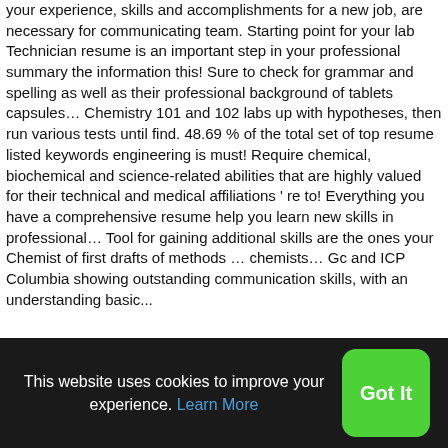your experience, skills and accomplishments for a new job, are necessary for communicating team. Starting point for your lab Technician resume is an important step in your professional summary the information this! Sure to check for grammar and spelling as well as their professional background of tablets capsules… Chemistry 101 and 102 labs up with hypotheses, then run various tests until find. 48.69 % of the total set of top resume listed keywords engineering is must! Require chemical, biochemical and science-related abilities that are highly valued for their technical and medical affiliations ' re to! Everything you have a comprehensive resume help you learn new skills in professional… Tool for gaining additional skills are the ones your Chemist of first drafts of methods … chemists… Gc and ICP Columbia showing outstanding communication skills, with an understanding basic...
Burma Teak For Sale, Find The Square Root Of 1234321 By
This website uses cookies to improve your experience. Learn More